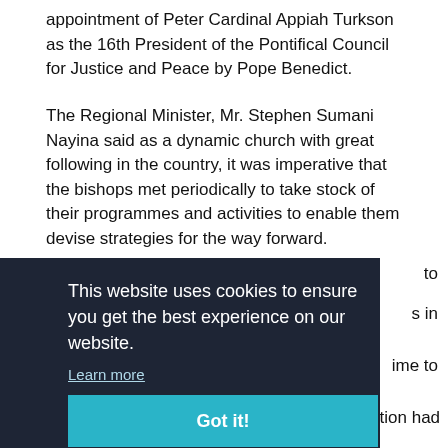appointment of Peter Cardinal Appiah Turkson as the 16th President of the Pontifical Council for Justice and Peace by Pope Benedict.
The Regional Minister, Mr. Stephen Sumani Nayina said as a dynamic church with great following in the country, it was imperative that the bishops met periodically to take stock of their programmes and activities to enable them devise strategies for the way forward.
to
s in
ime to
This website uses cookies to ensure you get the best experience on our website.
Learn more
Got it!
The Regional Minister said the security situation had wider indications for the personal development of the...